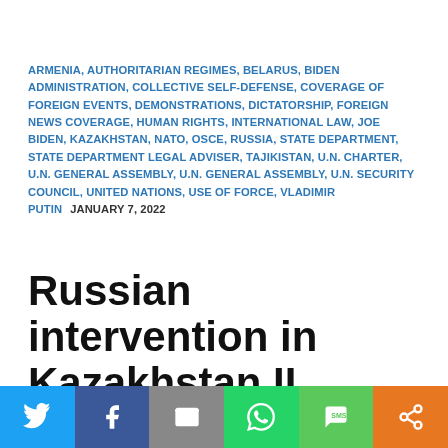ARMENIA, AUTHORITARIAN REGIMES, BELARUS, BIDEN ADMINISTRATION, COLLECTIVE SELF-DEFENSE, COVERAGE OF FOREIGN EVENTS, DEMONSTRATIONS, DICTATORSHIP, FOREIGN NEWS COVERAGE, HUMAN RIGHTS, INTERNATIONAL LAW, JOE BIDEN, KAZAKHSTAN, NATO, OSCE, RUSSIA, STATE DEPARTMENT, STATE DEPARTMENT LEGAL ADVISER, TAJIKISTAN, U.N. CHARTER, U.N. GENERAL ASSEMBLY, U.N. GENERAL ASSEMBLY, U.N. SECURITY COUNCIL, UNITED NATIONS, USE OF FORCE, VLADIMIR PUTIN    JANUARY 7, 2022
Russian intervention in Kazakhstan II (January 7, 2022)
Social share icons: Twitter, Facebook, Email, WhatsApp, SMS, Share